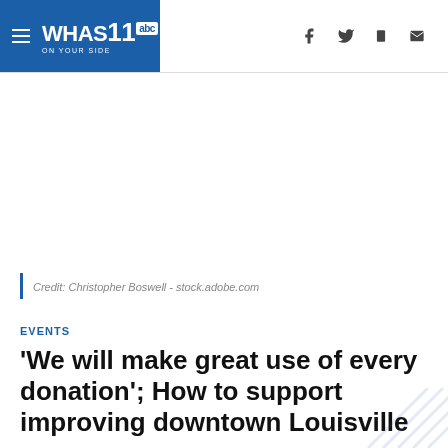WHAS11 abc ON YOUR SIDE
Credit: Christopher Boswell - stock.adobe.com
EVENTS
'We will make great use of every donation'; How to support improving downtown Louisville